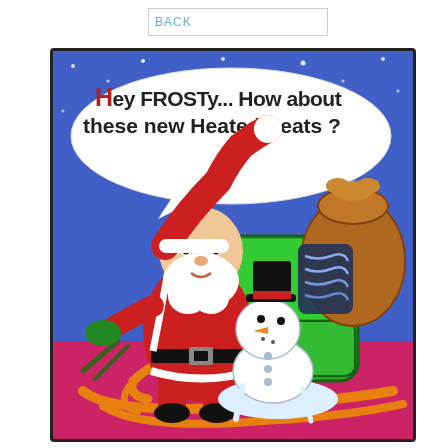BACK
[Figure (illustration): Christmas cartoon showing Santa Claus standing next to a green sleigh with a speech bubble saying 'Hey Frosty... How about these new Heated Seats?' A melting snowman (Frosty) is sitting in the heated sleigh seat, visibly distressed. Santa holds the reins. A large brown bag of gifts is in the back of the sleigh. Background is a blue snowy night sky.]